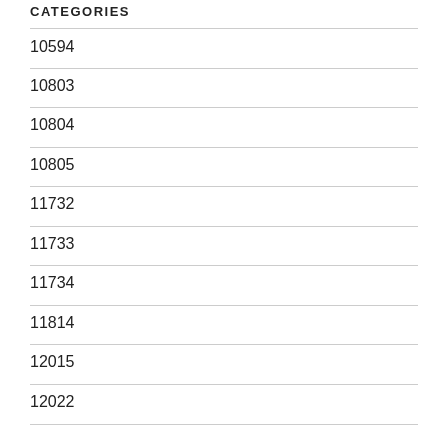CATEGORIES
10594
10803
10804
10805
11732
11733
11734
11814
12015
12022